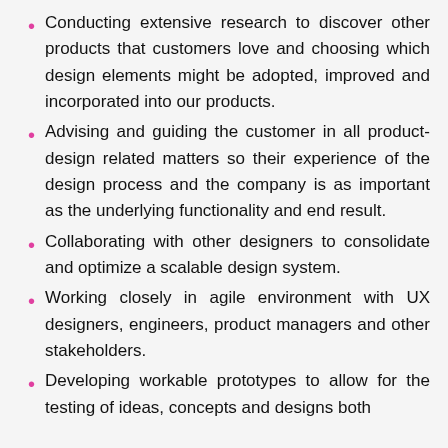Conducting extensive research to discover other products that customers love and choosing which design elements might be adopted, improved and incorporated into our products.
Advising and guiding the customer in all product-design related matters so their experience of the design process and the company is as important as the underlying functionality and end result.
Collaborating with other designers to consolidate and optimize a scalable design system.
Working closely in agile environment with UX designers, engineers, product managers and other stakeholders.
Developing workable prototypes to allow for the testing of ideas, concepts and designs both